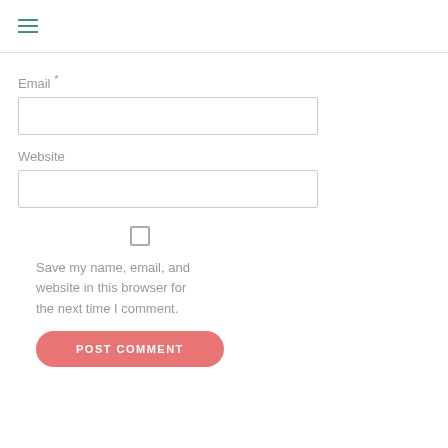≡
Email *
Website
Save my name, email, and website in this browser for the next time I comment.
POST COMMENT